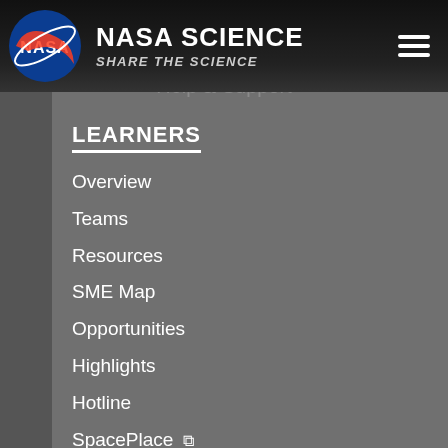NASA SCIENCE SHARE THE SCIENCE
Help & Support
LEARNERS
Overview
Teams
Resources
SME Map
Opportunities
Highlights
Hotline
SpacePlace ↗
GET INVOLVED
NASA Science at Home